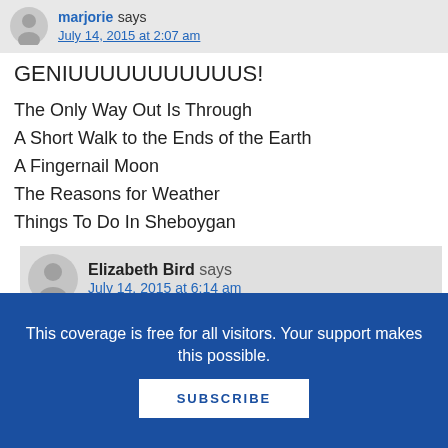marjorie says
July 14, 2015 at 2:07 am
GENIUUUUUUUUUUUS!

The Only Way Out Is Through
A Short Walk to the Ends of the Earth
A Fingernail Moon
The Reasons for Weather
Things To Do In Sheboygan
Elizabeth Bird says
July 14, 2015 at 6:14 am
This coverage is free for all visitors. Your support makes this possible.
SUBSCRIBE